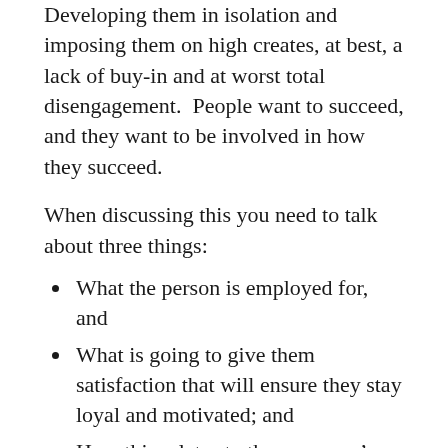Developing them in isolation and imposing them on high creates, at best, a lack of buy-in and at worst total disengagement.  People want to succeed, and they want to be involved in how they succeed.
When discussing this you need to talk about three things:
What the person is employed for, and
What is going to give them satisfaction that will ensure they stay loyal and motivated; and
How this relates to the company’s main goals
Once there is a shared and common understanding you need to discuss the KPIs